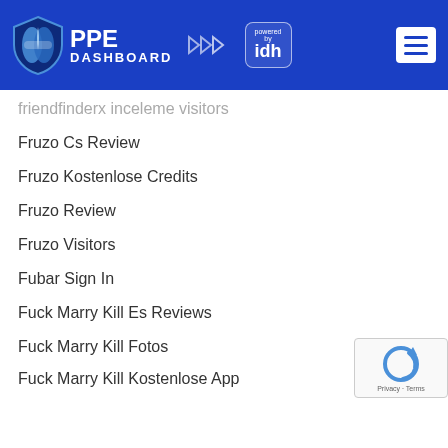PPE DASHBOARD powered by idh
friendfinderx inceleme visitors
Fruzo Cs Review
Fruzo Kostenlose Credits
Fruzo Review
Fruzo Visitors
Fubar Sign In
Fuck Marry Kill Es Reviews
Fuck Marry Kill Fotos
Fuck Marry Kill Kostenlose App